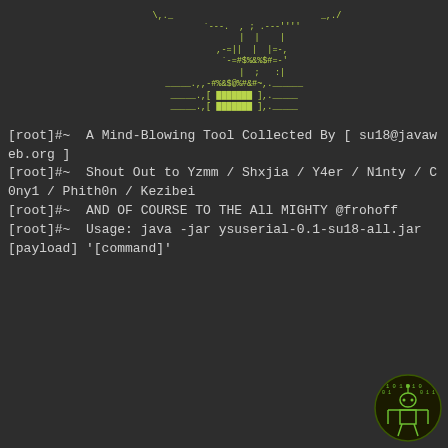[Figure (illustration): ASCII art graphic resembling a robot/alien face with green bar elements and decorative characters]
[root]#~  A Mind-Blowing Tool Collected By [ su18@javaweb.org ]
[root]#~  Shout Out to Yzmm / Shxjia / Y4er / N1nty / C0ny1 / Phith0n / Kezibei
[root]#~  AND OF COURSE TO THE All MIGHTY @frohoff
[root]#~  Usage: java -jar ysuserial-0.1-su18-all.jar [payload] '[command]'
[Figure (logo): Green circuit/hacker themed logo with a figure and binary code in bottom right corner]